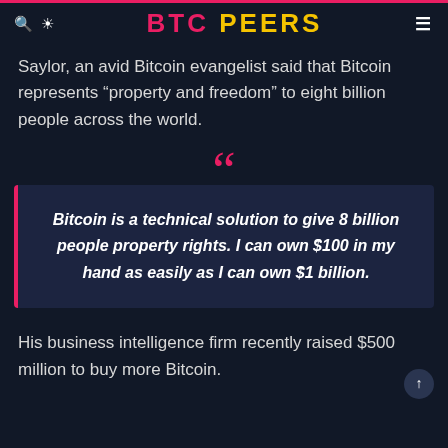BTC PEERS
Saylor, an avid Bitcoin evangelist said that Bitcoin represents “property and freedom” to eight billion people across the world.
Bitcoin is a technical solution to give 8 billion people property rights. I can own $100 in my hand as easily as I can own $1 billion.
His business intelligence firm recently raised $500 million to buy more Bitcoin.